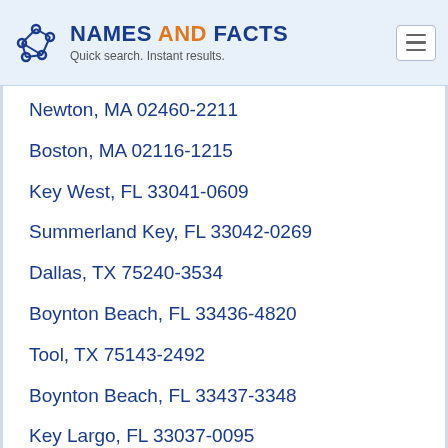NAMES AND FACTS — Quick search. Instant results.
Newton, MA 02460-2211
Boston, MA 02116-1215
Key West, FL 33041-0609
Summerland Key, FL 33042-0269
Dallas, TX 75240-3534
Boynton Beach, FL 33436-4820
Tool, TX 75143-2492
Boynton Beach, FL 33437-3348
Key Largo, FL 33037-0095
Kemp, TX 75143-0302
Boca Raton, FL 33433-1141
Boston, MA 02116-1778